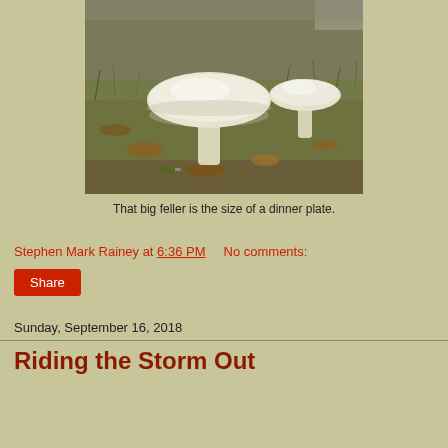[Figure (photo): Two white mushrooms growing in grass and dry leaves. The larger mushroom on the left is very wide, described as dinner-plate sized. A smaller mushroom is visible to the right.]
That big feller is the size of a dinner plate.
Stephen Mark Rainey at 6:36 PM    No comments:
Share
Sunday, September 16, 2018
Riding the Storm Out